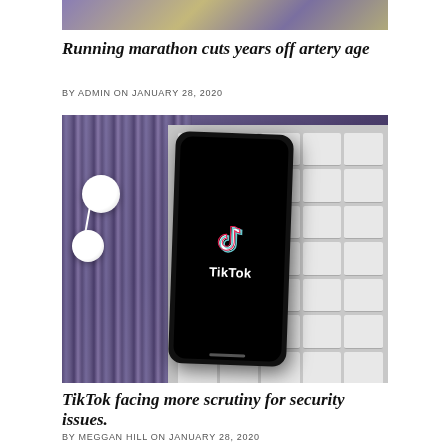[Figure (photo): Top portion of an article image, partially visible at the top of the page]
Running marathon cuts years off artery age
BY ADMIN ON JANUARY 28, 2020
[Figure (photo): Photo of a smartphone displaying the TikTok app logo on its screen, placed on a keyboard with white earbuds beside it on a striped purple/blue surface]
TikTok facing more scrutiny for security issues.
BY MEGGAN HILL ON JANUARY 28, 2020